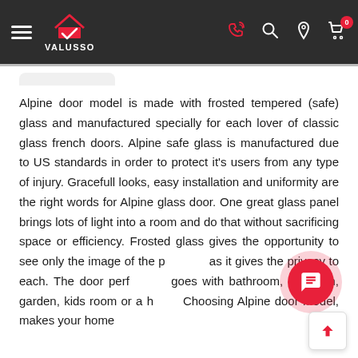[Figure (screenshot): Valusso website navigation bar with hamburger menu, Valusso logo (house with checkmark), phone icon, search icon, location icon, and shopping cart with badge showing 0]
Alpine door model is made with frosted tempered (safe) glass and manufactured specially for each lover of classic glass french doors. Alpine safe glass is manufactured due to US standards in order to protect it's users from any type of injury. Gracefull looks, easy installation and uniformity are the right words for Alpine glass door. One great glass panel brings lots of light into a room and do that without sacrificing space or efficiency. Frosted glass gives the opportunity to see only the image of the p[erson] as it gives the privacy to each. The door perf[ectly] goes with bathroom, bedroom, garden, kids room or a h[ome]. Choosing Alpine door model, makes your home